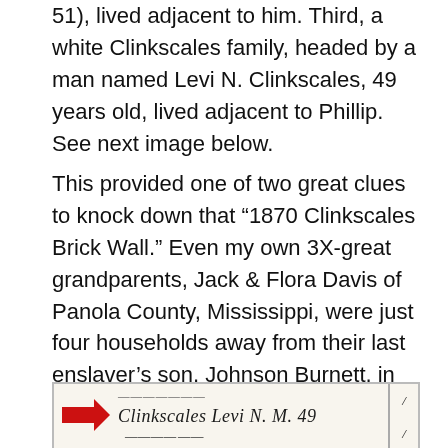51), lived adjacent to him. Third, a white Clinkscales family, headed by a man named Levi N. Clinkscales, 49 years old, lived adjacent to Phillip. See next image below.
This provided one of two great clues to knock down that “1870 Clinkscales Brick Wall.” Even my own 3X-great grandparents, Jack & Flora Davis of Panola County, Mississippi, were just four households away from their last enslaver’s son, Johnson Burnett, in 1880. Many African American families remained in the area where they had been enslaved. Interestingly, the black Clinkscales’s color was noted as “mulatto,” which indicates that the census taker perceived them as being racially mixed.
[Figure (photo): A cropped historical census document image showing handwritten entries. A red arrow points to a line reading 'Clinkscales Levi N. M. 49' with additional handwritten text. Another partial handwritten line appears below.]